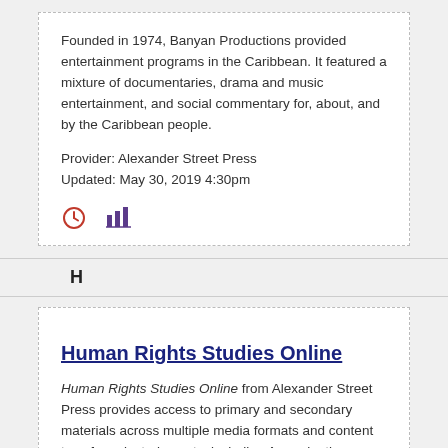Founded in 1974, Banyan Productions provided entertainment programs in the Caribbean.  It featured a mixture of documentaries, drama and music entertainment, and social commentary for, about, and by the Caribbean people.
Provider: Alexander Street Press
Updated: May 30, 2019 4:30pm
[Figure (other): Two icons: a clock icon and a bar chart icon]
H
Human Rights Studies Online
Human Rights Studies Online from Alexander Street Press provides access to primary and secondary materials across multiple media formats and content type for selected events, including Armenia, the Holocaust, Cambodia, Bosnia-Herzegovina, Rwanda, Darfur, and more than 30 additional subjects.  It includes extensive, comparative documentation